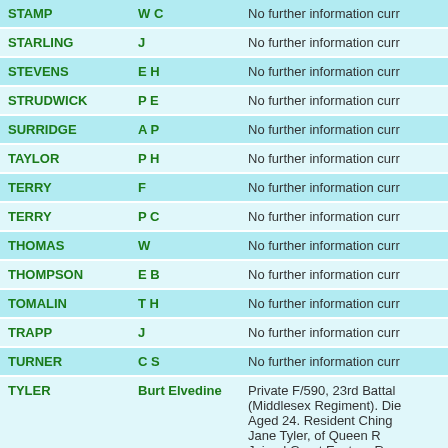| Surname | Initials/Name | Information |
| --- | --- | --- |
| STAMP | W C | No further information curr |
| STARLING | J | No further information curr |
| STEVENS | E H | No further information curr |
| STRUDWICK | P E | No further information curr |
| SURRIDGE | A P | No further information curr |
| TAYLOR | P H | No further information curr |
| TERRY | F | No further information curr |
| TERRY | P C | No further information curr |
| THOMAS | W | No further information curr |
| THOMPSON | E B | No further information curr |
| TOMALIN | T H | No further information curr |
| TRAPP | J | No further information curr |
| TURNER | C S | No further information curr |
| TYLER | Burt Elvedine | Private F/590, 23rd Battal (Middlesex Regiment). Die Aged 24. Resident Ching Jane Tyler, of Queen R Joined Great Eastern Ra |